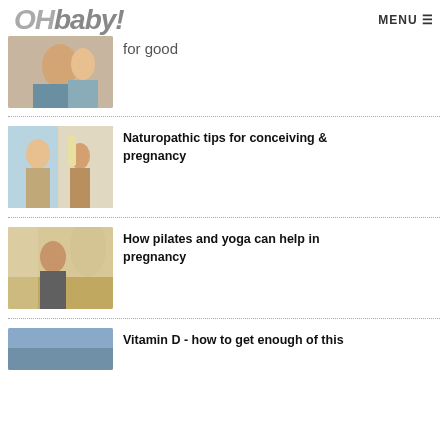OHbaby! MENU
for good
[Figure (photo): Person holding a baby indoors]
Naturopathic tips for conceiving & pregnancy
[Figure (photo): Couple in a bedroom, woman appears pregnant]
How pilates and yoga can help in pregnancy
[Figure (photo): Pregnant woman sitting cross-legged doing yoga]
Vitamin D - how to get enough of this